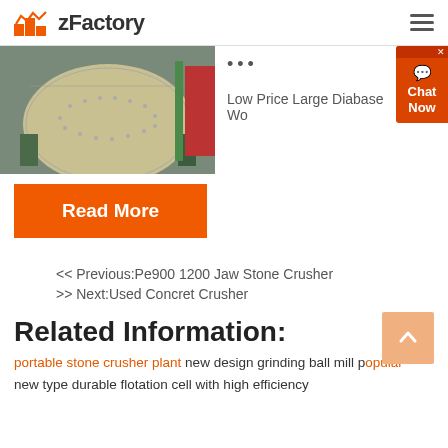zFactory
[Figure (photo): Industrial grinding ball mill machine photographed in a factory setting, showing a large cylindrical vessel with perforated surface]
...
Low Price Large Diabase Wo…
Read More
<< Previous:Pe900 1200 Jaw Stone Crusher
>> Next:Used Concret Crusher
Related Information:
portable stone crusher plant new design grinding ball mill popular new type durable flotation cell with high efficiency